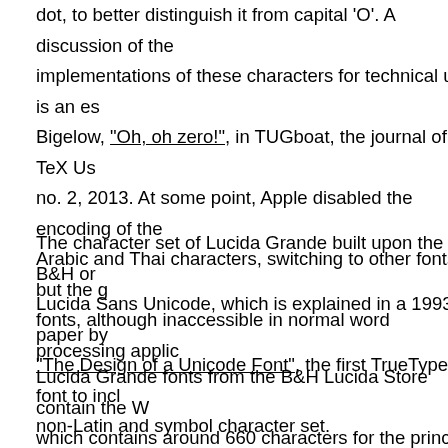dot, to better distinguish it from capital 'O'. A discussion of the implementations of these characters for technical use is an es... Bigelow, "Oh, oh zero!", in TUGboat, the journal of the TeX Us... no. 2, 2013. At some point, Apple disabled the encoding of the Arabic and Thai characters, switching to other fonts, but the g... fonts, although inaccessible in normal word processing applic...
The character set of Lucida Grande built upon the set B&H or Lucida Sans Unicode, which is explained in a 1993 paper by ... "The Design of a Unicode Font", the first TrueType font to incl... non-Latin and symbol character set.
Lucida Grande fonts from the B&H Lucida Store contain the W... which contains around 660 characters for the principal Europe... American languages, in Unicode blocks of ASCII, Latin-1, Lat... Greek, Cyrillic (partial), and assorted arrows, mathematical op...